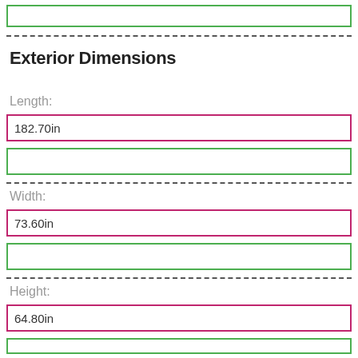Exterior Dimensions
Length:
182.70in
Width:
73.60in
Height:
64.80in